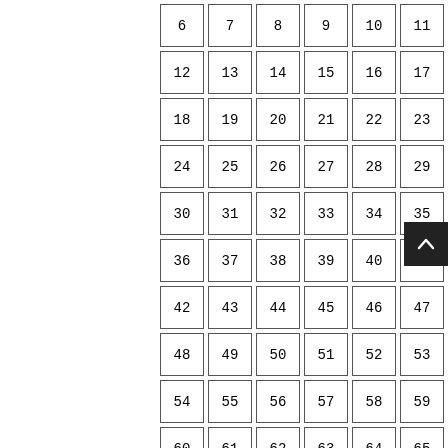| 6 | 7 | 8 | 9 | 10 | 11 |
| 12 | 13 | 14 | 15 | 16 | 17 |
| 18 | 19 | 20 | 21 | 22 | 23 |
| 24 | 25 | 26 | 27 | 28 | 29 |
| 30 | 31 | 32 | 33 | 34 | 35 |
| 36 | 37 | 38 | 39 | 40 | 41 |
| 42 | 43 | 44 | 45 | 46 | 47 |
| 48 | 49 | 50 | 51 | 52 | 53 |
| 54 | 55 | 56 | 57 | 58 | 59 |
| 60 | 61 | 62 | 63 | 64 | 65 |